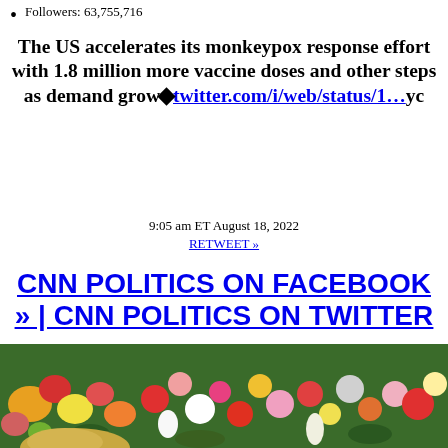Followers: 63,755,716
The US accelerates its monkeypox response effort with 1.8 million more vaccine doses and other steps as demand grow◆twitter.com/i/web/status/1…yc
9:05 am ET August 18, 2022
RETWEET »
CNN POLITICS ON FACEBOOK » | CNN POLITICS ON TWITTER »
[Figure (photo): Photo of a person with blonde hair looking at a colorful wall of flowers, including roses and other blooms.]